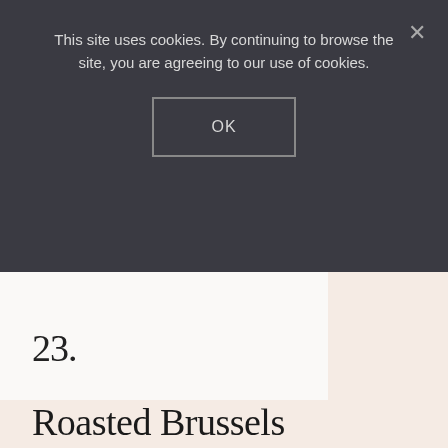This site uses cookies. By continuing to browse the site, you are agreeing to our use of cookies.
OK
×
[Figure (photo): White/light background image area partially visible behind cookie banner]
23.
Roasted Brussels